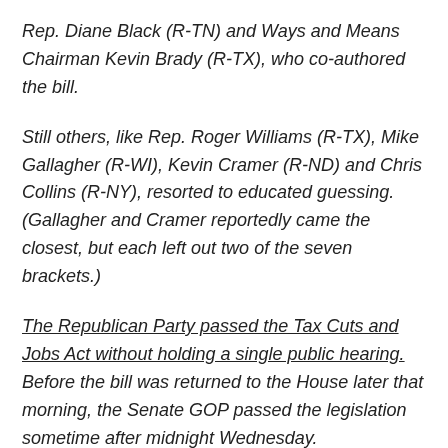Rep. Diane Black (R-TN) and Ways and Means Chairman Kevin Brady (R-TX), who co-authored the bill.
Still others, like Rep. Roger Williams (R-TX), Mike Gallagher (R-WI), Kevin Cramer (R-ND) and Chris Collins (R-NY), resorted to educated guessing. (Gallagher and Cramer reportedly came the closest, but each left out two of the seven brackets.)
The Republican Party passed the Tax Cuts and Jobs Act without holding a single public hearing. Before the bill was returned to the House later that morning, the Senate GOP passed the legislation sometime after midnight Wednesday.
Read the full report at HuffPost.